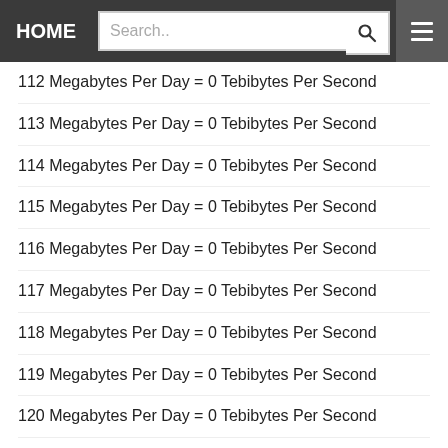HOME | Search..
112 Megabytes Per Day = 0 Tebibytes Per Second
113 Megabytes Per Day = 0 Tebibytes Per Second
114 Megabytes Per Day = 0 Tebibytes Per Second
115 Megabytes Per Day = 0 Tebibytes Per Second
116 Megabytes Per Day = 0 Tebibytes Per Second
117 Megabytes Per Day = 0 Tebibytes Per Second
118 Megabytes Per Day = 0 Tebibytes Per Second
119 Megabytes Per Day = 0 Tebibytes Per Second
120 Megabytes Per Day = 0 Tebibytes Per Second
121 Megabytes Per Day = 0 Tebibytes Per Second
122 Megabytes Per Day = 0 Tebibytes Per Second